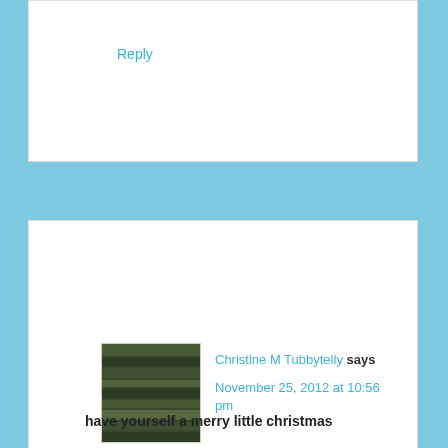Reply
Christine M Tubbytelly says
November 25, 2012 at 10:56 pm
have yourself a merry little christmas
This website uses cookies to improve your experience. We'll assume you're ok with this, but you can opt-out if you wish.
0 SHARES